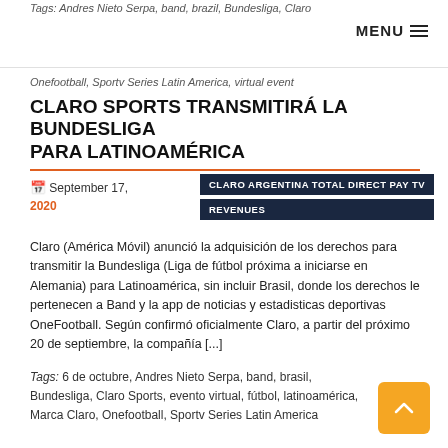Tags: Andres Nieto Serpa, band, brazil, Bundesliga, Claro   MENU ☰
Onefootball, Sportv Series Latin America, virtual event
CLARO SPORTS TRANSMITIRÁ LA BUNDESLIGA PARA LATINOAMÉRICA
September 17, 2020
CLARO ARGENTINA TOTAL DIRECT PAY TV REVENUES
Claro (América Móvil) anunció la adquisición de los derechos para transmitir la Bundesliga (Liga de fútbol próxima a iniciarse en Alemania) para Latinoamérica, sin incluir Brasil, donde los derechos le pertenecen a Band y la app de noticias y estadisticas deportivas OneFootball. Según confirmó oficialmente Claro, a partir del próximo 20 de septiembre, la compañía [...]
Tags: 6 de octubre, Andres Nieto Serpa, band, brasil, Bundesliga, Claro Sports, evento virtual, fútbol, latinoamérica, Marca Claro, Onefootball, Sportv Series Latin America